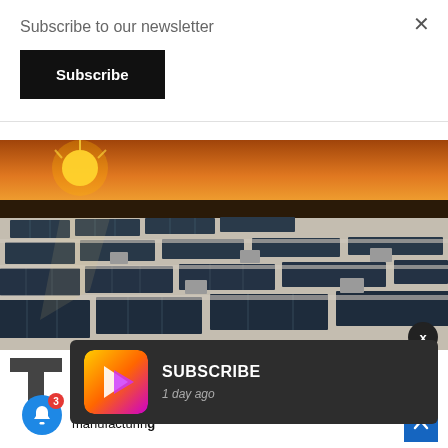Subscribe to our newsletter
Subscribe
[Figure (photo): Aerial view of solar panels on a flat rooftop at sunset/sunrise, with warm orange glow in the background and rows of photovoltaic panels across the roof]
[Figure (logo): Large letter T logo for Tiger Brands or similar publication]
iger B... at its ... million rand investment with the goal to have of the business' electricity requirements at a manufacturing
[Figure (screenshot): Subscribe popup notification with yellow-to-pink gradient icon and text 'SUBSCRIBE' with '1 day ago' timestamp on dark background]